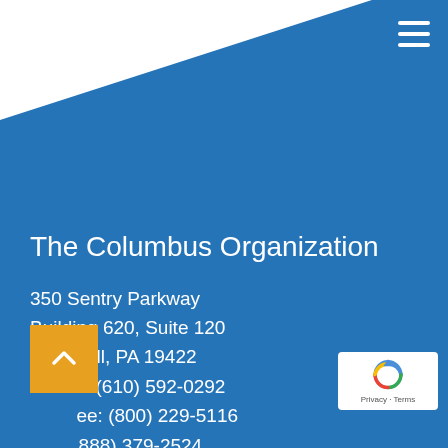[Figure (screenshot): Blue diagonal banner background with white top-left corner area]
[Figure (other): Hamburger menu icon button in blue square, top-right corner]
The Columbus Organization
350 Sentry Parkway
Building 620, Suite 120
Blue Bell, PA 19422
Phone: (610) 592-0292
Toll-free: (800) 229-5116
Fax: (888) 379-2524
Email: info@columbusorg.com
[Figure (other): Yellow scroll-to-top button with up arrow]
[Figure (other): Google reCAPTCHA badge with Privacy and Terms links]